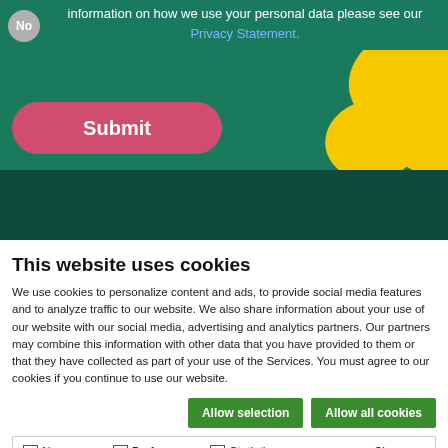[Figure (screenshot): Website screenshot showing a form section with a 'No' toggle, text about personal data and Privacy Statement link, a pink Submit button, a yellow decorative flower shape, a dark teal Bord Bia branded footer strip with logo and purple up-arrow button, followed by a cookie consent banner below.]
This website uses cookies
We use cookies to personalize content and ads, to provide social media features and to analyze traffic to our website. We also share information about your use of our website with our social media, advertising and analytics partners. Our partners may combine this information with other data that you have provided to them or that they have collected as part of your use of the Services. You must agree to our cookies if you continue to use our website.
Allow selection | Allow all cookies
Necessary | Preferences | Statistics | Marketing | Show details